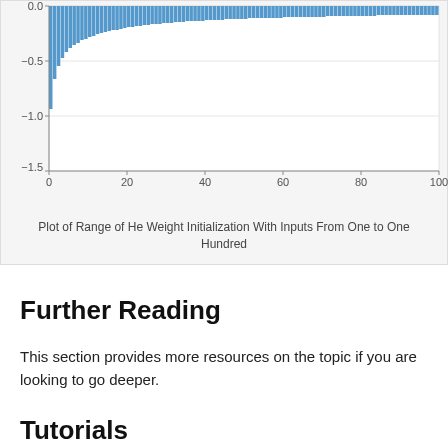[Figure (continuous-plot): Bar chart showing the range of He (He et al.) weight initialization values for inputs from 1 to 100. The y-axis ranges from about -1.5 to 0.0. The first bar (input=1) reaches down to approximately -1.53, and subsequent bars get progressively closer to 0 as input increases toward 100. X-axis ticks: 0, 20, 40, 60, 80, 100. Y-axis ticks: 0.0, -0.5, -1.0, -1.5.]
Plot of Range of He Weight Initialization With Inputs From One to One Hundred
Further Reading
This section provides more resources on the topic if you are looking to go deeper.